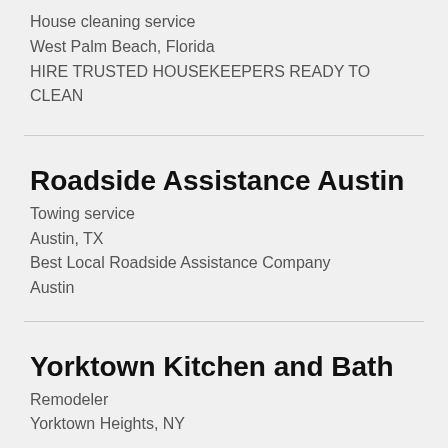House cleaning service
West Palm Beach, Florida
HIRE TRUSTED HOUSEKEEPERS READY TO CLEAN
Roadside Assistance Austin
Towing service
Austin, TX
Best Local Roadside Assistance Company Austin
Yorktown Kitchen and Bath
Remodeler
Yorktown Heights, NY